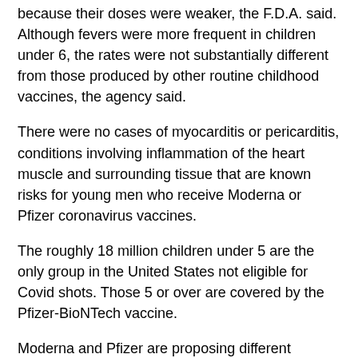because their doses were weaker, the F.D.A. said. Although fevers were more frequent in children under 6, the rates were not substantially different from those produced by other routine childhood vaccines, the agency said.
There were no cases of myocarditis or pericarditis, conditions involving inflammation of the heart muscle and surrounding tissue that are known risks for young men who receive Moderna or Pfizer coronavirus vaccines.
The roughly 18 million children under 5 are the only group in the United States not eligible for Covid shots. Those 5 or over are covered by the Pfizer-BioNTech vaccine.
Moderna and Pfizer are proposing different regimens to cover the youngest children. Pfizer is seeking authorization for a three-dose regimen with doses one-tenth the strength of adult shots. Moderna has proposed two doses at one-quarter the strength of adult doses.